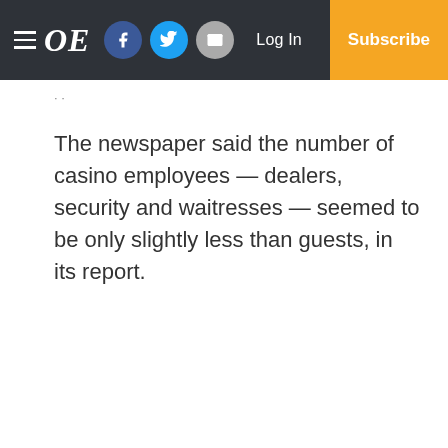OE — Log In — Subscribe (navigation bar with social icons)
The newspaper said the number of casino employees — dealers, security and waitresses — seemed to be only slightly less than guests, in its report.